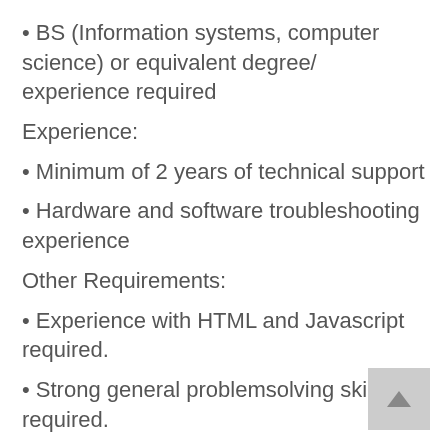• BS (Information systems, computer science) or equivalent degree/ experience required
Experience:
• Minimum of 2 years of technical support
• Hardware and software troubleshooting experience
Other Requirements:
• Experience with HTML and Javascript required.
• Strong general problemsolving skills required.
• Proficient in Excel, Word, PowerPoint